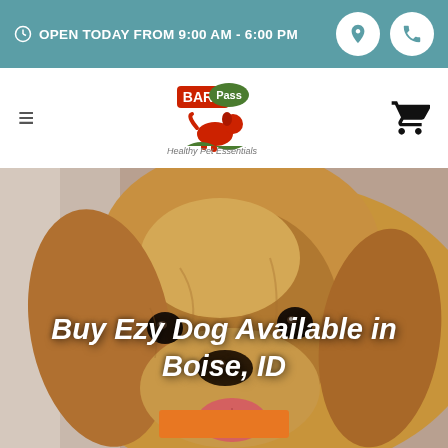OPEN TODAY FROM 9:00 AM - 6:00 PM
[Figure (logo): Bark Pass logo with dog silhouette and text 'Healthy Pet Essentials']
Buy Ezy Dog Available in Boise, ID
[Figure (photo): Close-up photo of a golden retriever dog looking at camera with its tongue out, hero image for pet store website]